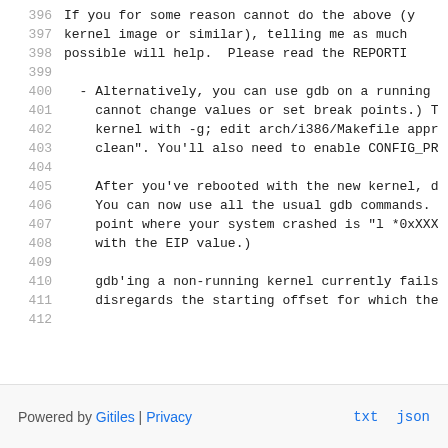396   If you for some reason cannot do the above (y
397   kernel image or similar), telling me as much
398   possible will help.  Please read the REPORTI
400 - Alternatively, you can use gdb on a running k
401   cannot change values or set break points.) T
402   kernel with -g; edit arch/i386/Makefile appr
403   clean". You'll also need to enable CONFIG_PR
405   After you've rebooted with the new kernel, do
406   You can now use all the usual gdb commands.
407   point where your system crashed is "l *0xXXX
408   with the EIP value.)
410   gdb'ing a non-running kernel currently fails
411   disregards the starting offset for which the
Powered by Gitiles | Privacy   txt  json